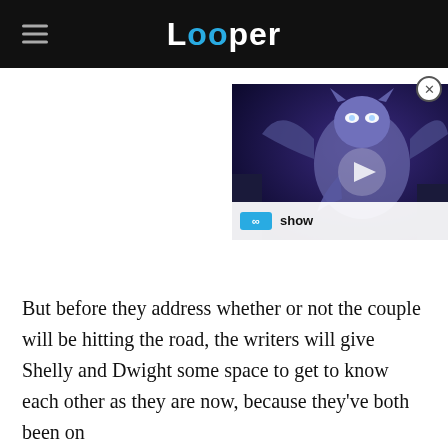Looper
[Figure (screenshot): Video thumbnail showing an animated gargoyle-like creature with glowing eyes and a play button overlay, with an 'infinity show' label bar at bottom]
But before they address whether or not the couple will be hitting the road, the writers will give Shelly and Dwight some space to get to know each other as they are now, because they've both been on